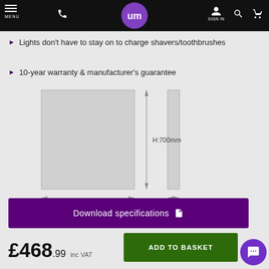MENU | phone | um logo | SIGN IN | search | cart
Lights don't have to stay on to charge shavers/toothbrushes
10-year warranty & manufacturer's guarantee
[Figure (engineering-diagram): Product dimension diagram showing front view (W:500mm, H:700mm) and side view (D:145mm) of a rectangular cabinet/mirror unit]
Download specifications
£468.99 inc VAT
ADD TO BASKET